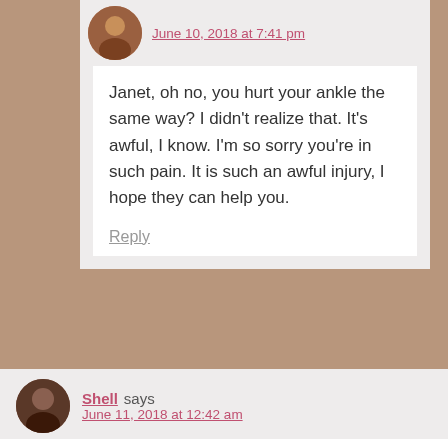June 10, 2018 at 7:41 pm
Janet, oh no, you hurt your ankle the same way? I didn't realize that. It's awful, I know. I'm so sorry you're in such pain. It is such an awful injury, I hope they can help you.
Reply
Shell says
June 11, 2018 at 12:42 am
I know having that foot brace is a lot. Thankfully it wasn't a worst fall. You have that lucky Aquarius energy keeping you optimistic even when things